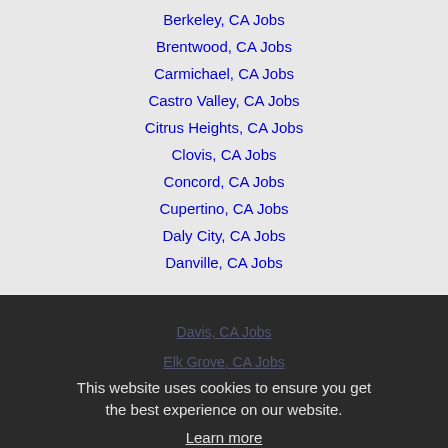Berkeley, CA Jobs
Brentwood, CA Jobs
Carmichael, CA Jobs
Castro Valley, CA Jobs
Citrus Heights, CA Jobs
Clovis, CA Jobs
Concord, CA Jobs
Cupertino, CA Jobs
Daly City, CA Jobs
Danville, CA Jobs
Davis, CA Jobs
Elk Grove, CA Jobs
Fairfield, CA Jobs
Folsom, CA Jobs
Fremont, CA Jobs
Fresno, CA Jobs
Gilroy, CA Jobs
Hayward, CA Jobs
This website uses cookies to ensure you get the best experience on our website. Learn more
Got it!